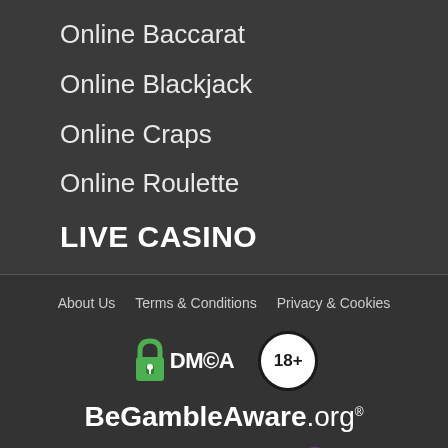Online Baccarat
Online Blackjack
Online Craps
Online Roulette
LIVE CASINO
About Us   Terms & Conditions   Privacy & Cookies
[Figure (logo): DMCA protection badge with green padlock icon and text 'DMCA']
[Figure (logo): 18+ age restriction badge, white circle with black border]
[Figure (logo): BeGambleAware.org logo in white text]